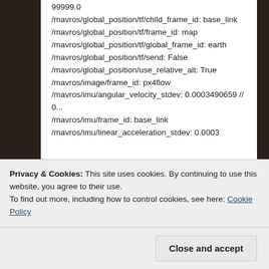99999.0
/mavros/global_position/tf/child_frame_id: base_link
/mavros/global_position/tf/frame_id: map
/mavros/global_position/tf/global_frame_id: earth
/mavros/global_position/tf/send: False
/mavros/global_position/use_relative_alt: True
/mavros/image/frame_id: px4flow
/mavros/imu/angular_velocity_stdev: 0.0003490659 // 0...
/mavros/imu/frame_id: base_link
/mavros/imu/linear_acceleration_stdev: 0.0003
Privacy & Cookies: This site uses cookies. By continuing to use this website, you agree to their use.
To find out more, including how to control cookies, see here: Cookie Policy
/mavros/landing_target/image/height: